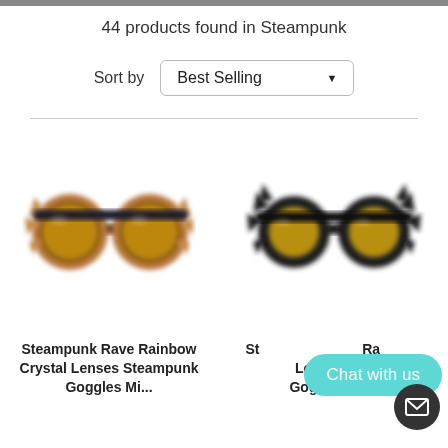44 products found in Steampunk
Sort by   Best Selling
[Figure (photo): Steampunk goggles with copper/rose gold spiky frame and dark yellow-tinted round lenses, slightly blurred product photo on white background]
[Figure (photo): Steampunk goggles with black spiky frame and amber/gold-tinted round lenses, slightly blurred product photo on white background]
Steampunk Rave Rainbow Crystal Lenses Steampunk Goggles Mi...
St... Ra... Lenses Steampunk Goggles Mi...
Chat with us